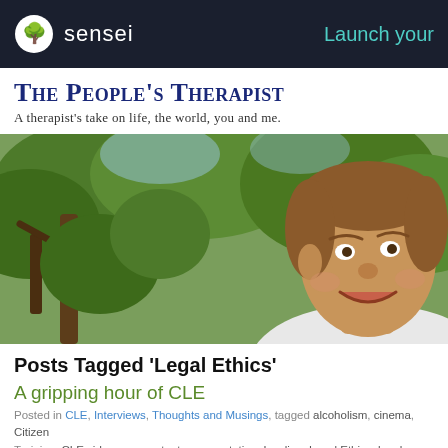sensei | Launch your
The People's Therapist
A therapist's take on life, the world, you and me.
[Figure (photo): Smiling man with short brown hair outdoors in front of green trees, a selfie-style photo]
Posts Tagged ‘Legal Ethics’
A gripping hour of CLE
Posted in CLE, Interviews, Thoughts and Musings, tagged alcoholism, cinema, Citizen Training, CLE videos, competent representation, Lawline, Legal Ethics, legal professio...